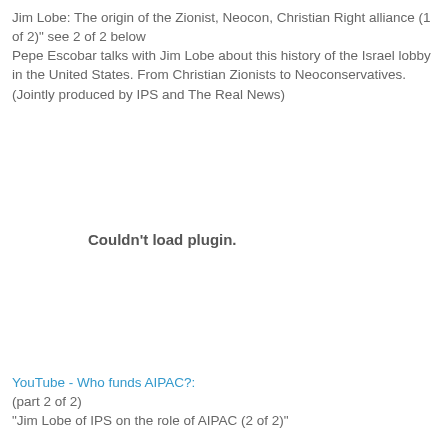Jim Lobe: The origin of the Zionist, Neocon, Christian Right alliance (1 of 2)" see 2 of 2 below
Pepe Escobar talks with Jim Lobe about this history of the Israel lobby in the United States. From Christian Zionists to Neoconservatives. (Jointly produced by IPS and The Real News)
[Figure (other): Embedded video plugin area showing 'Couldn't load plugin.' message]
YouTube - Who funds AIPAC?:
(part 2 of 2)
"Jim Lobe of IPS on the role of AIPAC (2 of 2)"